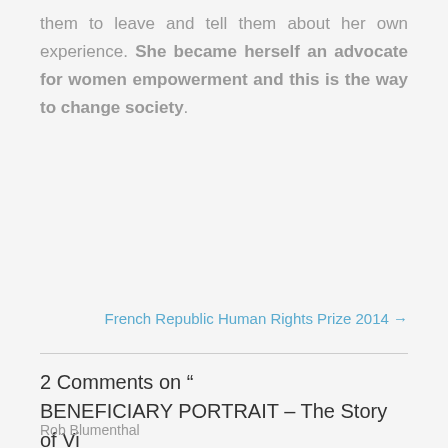them to leave and tell them about her own experience. She became herself an advocate for women empowerment and this is the way to change society.
French Republic Human Rights Prize 2014 →
2 Comments on " BENEFICIARY PORTRAIT – The Story of Vi "
Rob Blumenthal